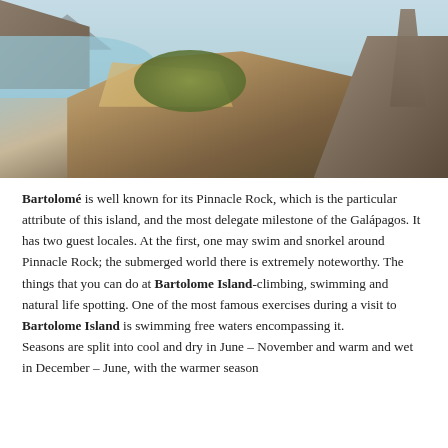[Figure (photo): Aerial or elevated photograph of Bartolomé Island in the Galápagos, showing Pinnacle Rock on the right, sandy isthmus with turquoise water on both sides, green vegetation in the center, and volcanic terrain in warm brown and ochre tones under a light blue sky.]
Bartolomé is well known for its Pinnacle Rock, which is the particular attribute of this island, and the most delegate milestone of the Galápagos. It has two guest locales. At the first, one may swim and snorkel around Pinnacle Rock; the submerged world there is extremely noteworthy. The things that you can do at Bartolome Island-climbing, swimming and natural life spotting. One of the most famous exercises during a visit to Bartolome Island is swimming free waters encompassing it.
Seasons are split into cool and dry in June – November and warm and wet in December – June, with the warmer season